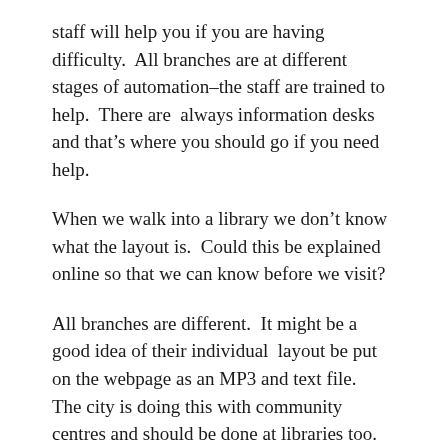staff will help you if you are having difficulty.  All branches are at different stages of automation–the staff are trained to help.  There are  always information desks and that's where you should go if you need help.
When we walk into a library we don't know what the layout is.  Could this be explained online so that we can know before we visit?
All branches are different.  It might be a good idea of their individual  layout be put on the webpage as an MP3 and text file.   The city is doing this with community centres and should be done at libraries too.
City of Ottawa has a wayfinding app that they are implementing.